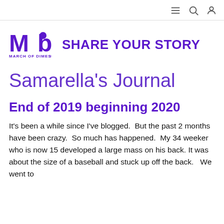[Figure (logo): March of Dimes logo — purple M and d letters with 'MARCH OF DIMES' text below]
SHARE YOUR STORY
Samarella's Journal
End of 2019 beginning 2020
It's been a while since I've blogged.  But the past 2 months have been crazy.  So much has happened.  My 34 weeker who is now 15 developed a large mass on his back. It was about the size of a baseball and stuck up off the back.   We went to